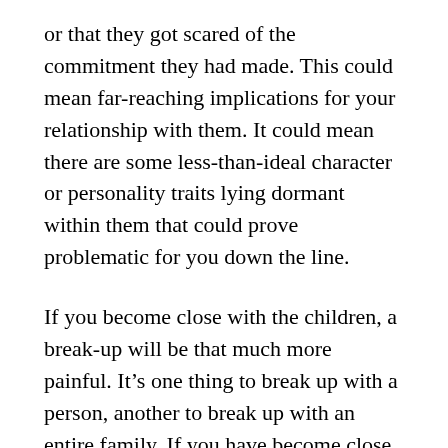or that they got scared of the commitment they had made. This could mean far-reaching implications for your relationship with them. It could mean there are some less-than-ideal character or personality traits lying dormant within them that could prove problematic for you down the line.
If you become close with the children, a break-up will be that much more painful. It’s one thing to break up with a person, another to break up with an entire family. If you have become close to the children, maybe even taken a parental role in their lives, and then you break up with their parent, you have no legal rights to any further contact with the